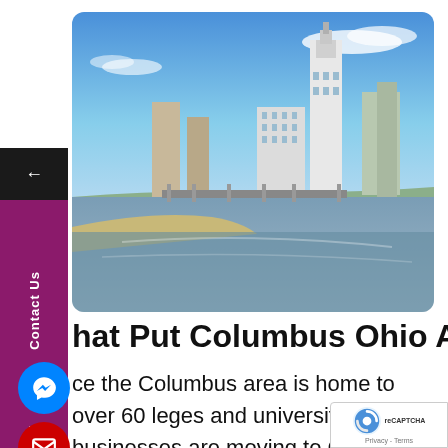[Figure (photo): Skyline of Columbus, Ohio with the Scioto River in the foreground, blue sky with wispy clouds, tall downtown buildings including a distinctive white clock tower skyscraper]
hat Put Columbus Ohio At The Top
ce the Columbus area is home to over 60 leges and universities, businesses are moving to Columbus to take advantage of the highly educated workforce. With the city seeing the highest wage growth in the country, Columb